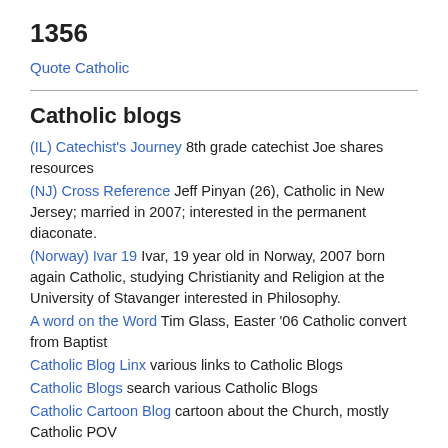1356
Quote Catholic
Catholic blogs
(IL) Catechist's Journey 8th grade catechist Joe shares resources
(NJ) Cross Reference Jeff Pinyan (26), Catholic in New Jersey; married in 2007; interested in the permanent diaconate.
(Norway) Ivar 19 Ivar, 19 year old in Norway, 2007 born again Catholic, studying Christianity and Religion at the University of Stavanger interested in Philosophy.
A word on the Word Tim Glass, Easter '06 Catholic convert from Baptist
Catholic Blog Linx various links to Catholic Blogs
Catholic Blogs search various Catholic Blogs
Catholic Cartoon Blog cartoon about the Church, mostly Catholic POV
Catholic Quote an ongoing project: a repository of Catholic quotes categorized by author and subject.
Catholic Sensibility Todd Flowerday is a Roman Catholic liturgist,